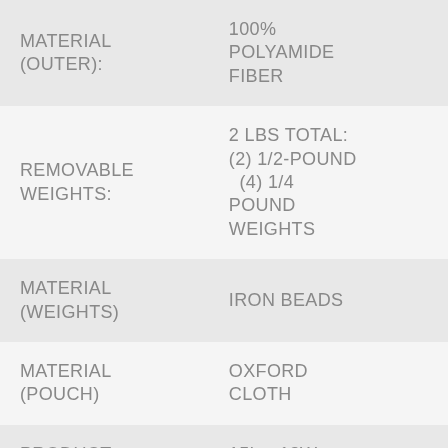| Attribute | Value |
| --- | --- |
| MATERIAL (OUTER): | 100% POLYAMIDE FIBER |
| REMOVABLE WEIGHTS: | 2 LBS TOTAL: (2) 1/2-POUND &  (4) 1/4 POUND WEIGHTS |
| MATERIAL (WEIGHTS) | IRON BEADS |
| MATERIAL (POUCH) | OXFORD CLOTH |
| PRODUCT DIMENSIONS: | 15L x 13W x 1H inches |